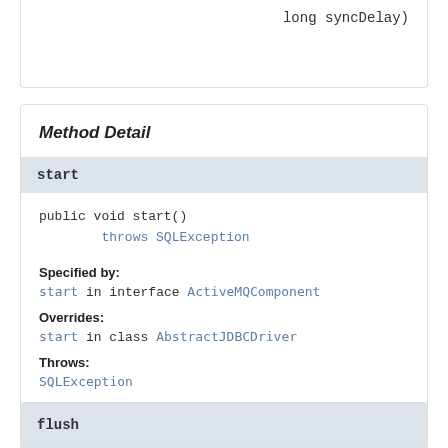long syncDelay)
Method Detail
start
public void start()
        throws SQLException
Specified by:
start in interface ActiveMQComponent
Overrides:
start in class AbstractJDBCDriver
Throws:
SQLException
flush